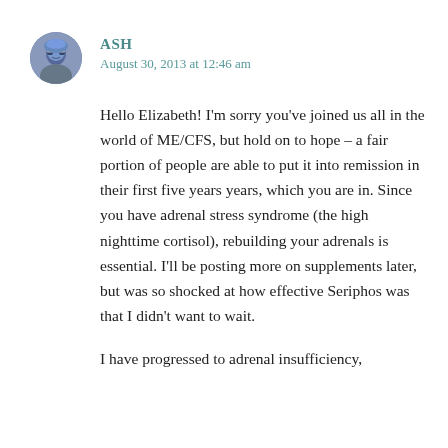[Figure (photo): Circular avatar photo of user Ash, showing a person with blue-tinted hair and glasses]
ASH
August 30, 2013 at 12:46 am
Hello Elizabeth! I'm sorry you've joined us all in the world of ME/CFS, but hold on to hope – a fair portion of people are able to put it into remission in their first five years years, which you are in. Since you have adrenal stress syndrome (the high nighttime cortisol), rebuilding your adrenals is essential. I'll be posting more on supplements later, but was so shocked at how effective Seriphos was that I didn't want to wait.
I have progressed to adrenal insufficiency, and PS (Phosphorylated Serine...